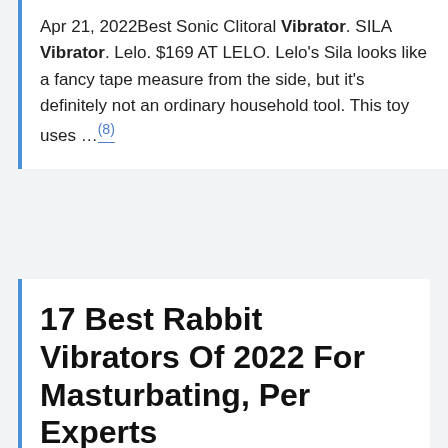Apr 21, 2022Best Sonic Clitoral Vibrator. SILA Vibrator. Lelo. $169 AT LELO. Lelo's Sila looks like a fancy tape measure from the side, but it's definitely not an ordinary household tool. This toy uses …(8)
17 Best Rabbit Vibrators Of 2022 For Masturbating, Per Experts
Apr 15, 20224. Best Budget Vibe. Jazz Rabbit Vibrator. ROMP. $40.